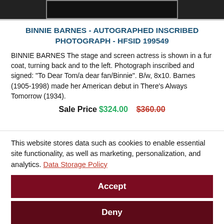[Figure (photo): Top portion of a black and white autographed photograph of Binnie Barnes, partially cropped]
BINNIE BARNES - AUTOGRAPHED INSCRIBED PHOTOGRAPH - HFSID 199549
BINNIE BARNES The stage and screen actress is shown in a fur coat, turning back and to the left. Photograph inscribed and signed: "To Dear Tom/a dear fan/Binnie". B/w, 8x10. Barnes (1905-1998) made her American debut in There's Always Tomorrow (1934).
Sale Price $324.00  $360.00
This website stores data such as cookies to enable essential site functionality, as well as marketing, personalization, and analytics. Data Storage Policy
Accept
Deny